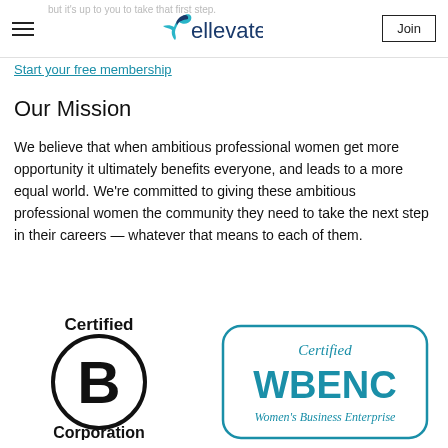ellevate — Join
but it's up to you to take that first step.
Start your free membership
Our Mission
We believe that when ambitious professional women get more opportunity it ultimately benefits everyone, and leads to a more equal world. We're committed to giving these ambitious professional women the community they need to take the next step in their careers — whatever that means to each of them.
[Figure (logo): Certified B Corporation logo — circle with large B, underlined, bold text Certified above and Corporation below]
[Figure (logo): Certified WBENC Women's Business Enterprise logo — rounded rectangle border with teal text]